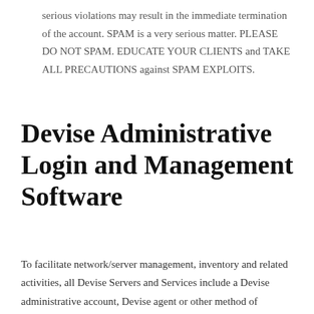serious violations may result in the immediate termination of the account. SPAM is a very serious matter. PLEASE DO NOT SPAM. EDUCATE YOUR CLIENTS and TAKE ALL PRECAUTIONS against SPAM EXPLOITS.
Devise Administrative Login and Management Software
To facilitate network/server management, inventory and related activities, all Devise Servers and Services include a Devise administrative account, Devise agent or other method of